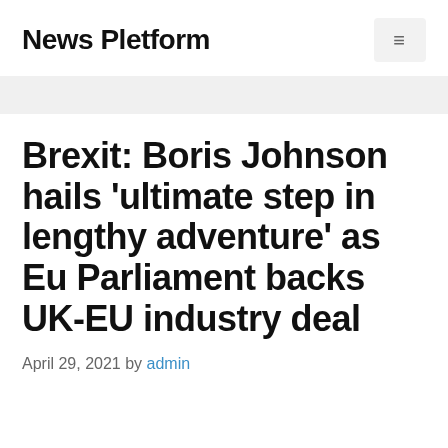News Pletform
Brexit: Boris Johnson hails 'ultimate step in lengthy adventure' as Eu Parliament backs UK-EU industry deal
April 29, 2021 by admin